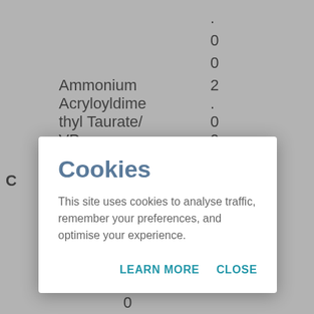|  |  | . |  |
|  |  | 0 |  |
|  |  | 0 |  |
|  | Ammonium Acryloyldimethyl Taurate/VP Copolymer | 2 . 0 0 |  |
| C | Preservatives |  |  |
[Figure (screenshot): Cookie consent modal overlay with title 'Cookies', description text, and LEARN MORE / CLOSE buttons]
|  | (SINERGA) |  |  |
|  | . |  |  |
|  | 0 |  |  |
|  | 0 |  |  |